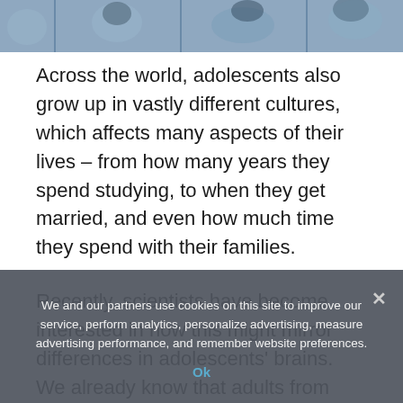[Figure (photo): Partial view of a collage or photo strip at the top of the page showing adolescents or people in various cultural settings, in blue-toned imagery.]
Across the world, adolescents also grow up in vastly different cultures, which affects many aspects of their lives – from how many years they spend studying, to when they get married, and even how much time they spend with their families.
Recently, scientists have become interested in how this might mirror differences in adolescents' brains. We already know that adults from different cultures show interesting differences in their brain activity and brain structure, and this is now starting to be investigated in
We and our partners use cookies on this site to improve our service, perform analytics, personalize advertising, measure advertising performance, and remember website preferences.
Ok